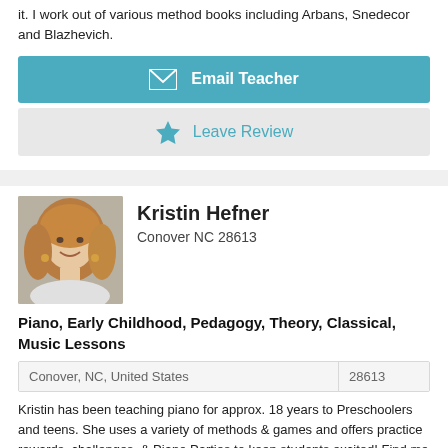it. I work out of various method books including Arbans, Snedecor and Blazhevich.
Email Teacher
Leave Review
Kristin Hefner
Conover NC 28613
[Figure (photo): Portrait photo of Kristin Hefner, a woman with long blonde/brown hair, smiling, wearing earrings.]
Piano, Early Childhood, Pedagogy, Theory, Classical, Music Lessons
| Conover, NC, United States | 28613 |
| --- | --- |
Kristin has been teaching piano for approx. 18 years to Preschoolers and teens. She uses a variety of methods & games and offers practice rewards, challenges, & Piano Parties to keep students excited! Find me on Facebook at "Piano with Kristin".
Email Teacher